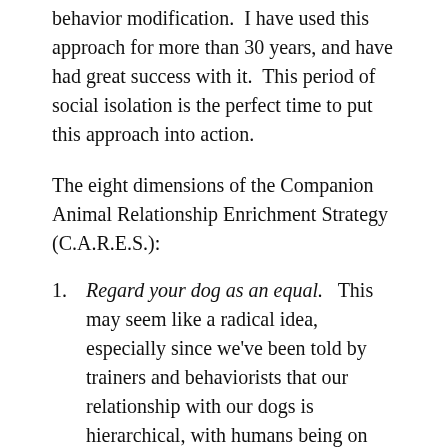behavior modification. I have used this approach for more than 30 years, and have had great success with it. This period of social isolation is the perfect time to put this approach into action.
The eight dimensions of the Companion Animal Relationship Enrichment Strategy (C.A.R.E.S.):
Regard your dog as an equal. This may seem like a radical idea, especially since we've been told by trainers and behaviorists that our relationship with our dogs is hierarchical, with humans being on top of the ladder. However, nothing distances us